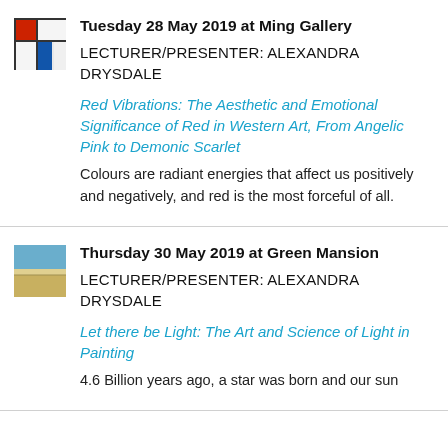[Figure (illustration): Small thumbnail image showing a red and blue Mondrian-style painting]
Tuesday 28 May 2019 at Ming Gallery
LECTURER/PRESENTER: ALEXANDRA DRYSDALE
Red Vibrations: The Aesthetic and Emotional Significance of Red in Western Art, From Angelic Pink to Demonic Scarlet
Colours are radiant energies that affect us positively and negatively, and red is the most forceful of all.
[Figure (photo): Small thumbnail image showing a landscape painting with blue sky and yellow tones]
Thursday 30 May 2019 at Green Mansion
LECTURER/PRESENTER: ALEXANDRA DRYSDALE
Let there be Light: The Art and Science of Light in Painting
4.6 Billion years ago, a star was born and our sun